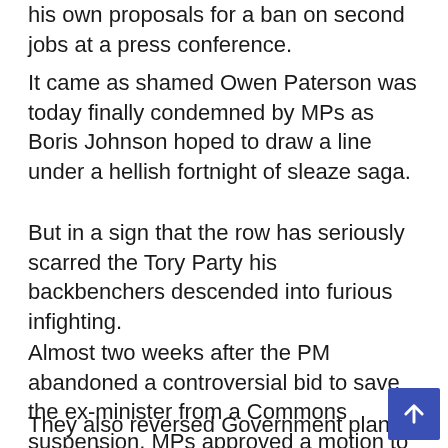his own proposals for a ban on second jobs at a press conference.
It came as shamed Owen Paterson was today finally condemned by MPs as Boris Johnson hoped to draw a line under a hellish fortnight of sleaze saga.
But in a sign that the row has seriously scarred the Tory Party his backbenchers descended into furious infighting.
Almost two weeks after the PM abandoned a controversial bid to save the ex-minister from a Commons suspension, MPs approved a motion to endorse his guilty verdict.
They also reversed Government plans to overha…